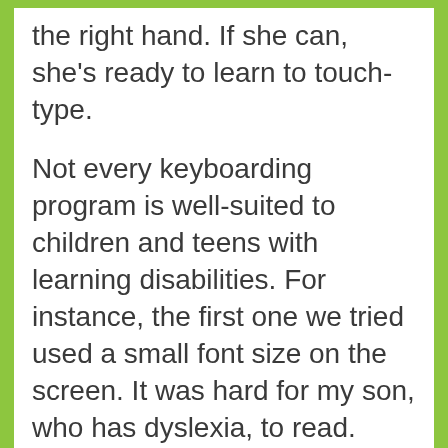the right hand. If she can, she's ready to learn to touch-type.
Not every keyboarding program is well-suited to children and teens with learning disabilities. For instance, the first one we tried used a small font size on the screen. It was hard for my son, who has dyslexia, to read.
There are many typing programs, but Keyboard Classroom is unusual. It's a typing program designed at the Ben Bronz School in Connecticut, a school especially for students with learning